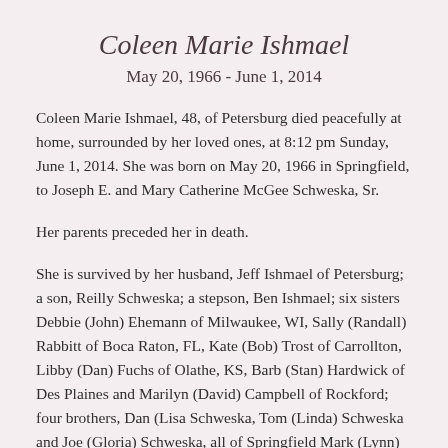Coleen Marie Ishmael
May 20, 1966 - June 1, 2014
Coleen Marie Ishmael, 48, of Petersburg died peacefully at home, surrounded by her loved ones, at 8:12 pm Sunday, June 1, 2014. She was born on May 20, 1966 in Springfield, to Joseph E. and Mary Catherine McGee Schweska, Sr.
Her parents preceded her in death.
She is survived by her husband, Jeff Ishmael of Petersburg; a son, Reilly Schweska; a stepson, Ben Ishmael; six sisters Debbie (John) Ehemann of Milwaukee, WI, Sally (Randall) Rabbitt of Boca Raton, FL, Kate (Bob) Trost of Carrollton, Libby (Dan) Fuchs of Olathe, KS, Barb (Stan) Hardwick of Des Plaines and Marilyn (David) Campbell of Rockford; four brothers, Dan (Lisa Schweska, Tom (Linda) Schweska and Joe (Gloria) Schweska, all of Springfield Mark (Lynn) Schweska of Nashville, TN and many nieces, nephews and cousins.
Coleen was a member of St. Peter's Church in Petersburg. She was a graduate of Sacred Heart Academy. She was a